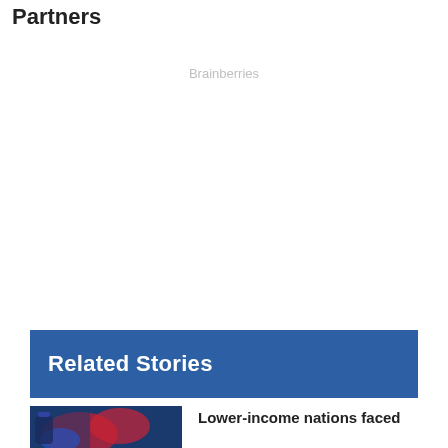Partners
Brainberries
[Figure (other): Advertisement placeholder area (blank white space)]
Related Stories
[Figure (photo): Photo of a gloved hand holding a COVID-19 vaccine vial with red and blue background]
Lower-income nations faced